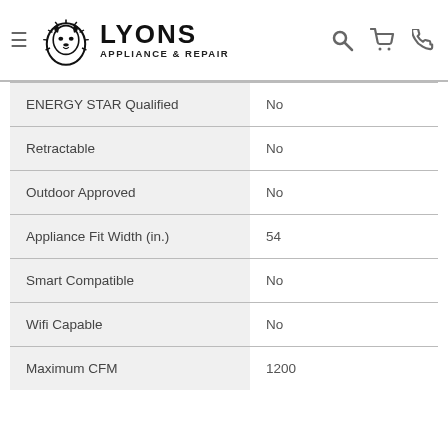LYONS APPLIANCE & REPAIR
| Feature | Value |
| --- | --- |
| ENERGY STAR Qualified | No |
| Retractable | No |
| Outdoor Approved | No |
| Appliance Fit Width (in.) | 54 |
| Smart Compatible | No |
| Wifi Capable | No |
| Maximum CFM | 1200 |